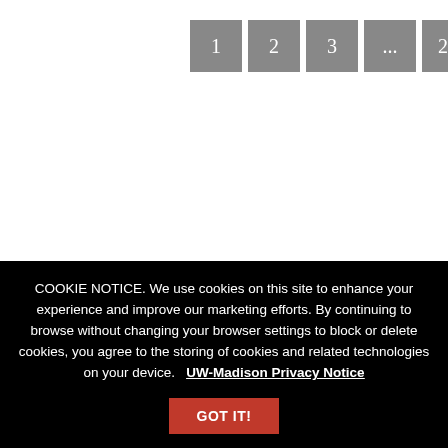[Figure (screenshot): Pagination navigation buttons showing page numbers 1, 2, 3, ..., 21 and a partially visible next button on a white background]
COOKIE NOTICE. We use cookies on this site to enhance your experience and improve our marketing efforts. By continuing to browse without changing your browser settings to block or delete cookies, you agree to the storing of cookies and related technologies on your device.   UW-Madison Privacy Notice
GOT IT!